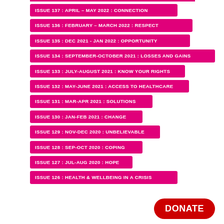ISSUE 137 : APRIL – MAY 2022 : CONNECTION
ISSUE 136 : FEBRUARY – MARCH 2022 : RESPECT
ISSUE 135 : DEC 2021 - JAN 2022 : OPPORTUNITY
ISSUE 134 : SEPTEMBER-OCTOBER 2021 : LOSSES AND GAINS
ISSUE 133 : JULY-AUGUST 2021 : KNOW YOUR RIGHTS
ISSUE 132 : MAY-JUNE 2021 : ACCESS TO HEALTHCARE
ISSUE 131 : MAR-APR 2021 : SOLUTIONS
ISSUE 130 : JAN-FEB 2021 : CHANGE
ISSUE 129 : NOV-DEC 2020 : UNBELIEVABLE
ISSUE 128 : SEP-OCT 2020 : COPING
ISSUE 127 : JUL-AUG 2020 : HOPE
ISSUE 126 : HEALTH & WELLBEING IN A CRISIS